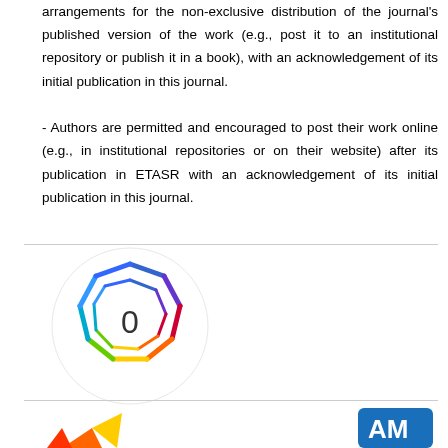arrangements for the non-exclusive distribution of the journal's published version of the work (e.g., post it to an institutional repository or publish it in a book), with an acknowledgement of its initial publication in this journal.

- Authors are permitted and encouraged to post their work online (e.g., in institutional repositories or on their website) after its publication in ETASR with an acknowledgement of its initial publication in this journal.
[Figure (logo): Colorful polygon/gem logo with a 0 in the center, on a white circle background]
[Figure (logo): Partial logos visible at bottom: left is a colorful geometric logo, right is a blue square logo with stylized A and M characters]